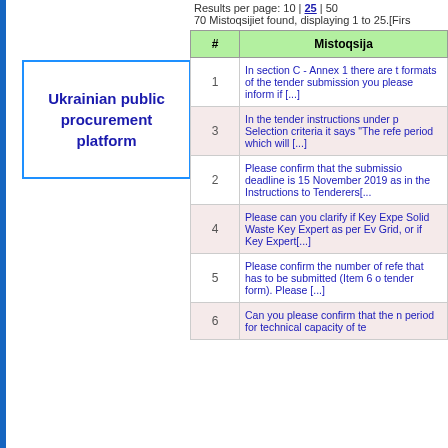[Figure (logo): Ukrainian public procurement platform logo box with blue border]
Results per page: 10 | 25 | 50
70 Mistoqsijiet found, displaying 1 to 25.[Firs
| # | Mistoqsija |
| --- | --- |
| 1 | In section C - Annex 1 there are t formats of the tender submission you please inform if [...] |
| 3 | In the tender instructions under p Selection criteria it says "The refe period which will [...] |
| 2 | Please confirm that the submissio deadline is 15 November 2019 as in the Instructions to Tenderers[... |
| 4 | Please can you clarify if Key Expe Solid Waste Key Expert as per Ev Grid, or if Key Expert[...] |
| 5 | Please confirm the number of refe that has to be submitted (Item 6 o tender form). Please [...] |
| 6 | Can you please confirm that the n period for technical capacity of te |